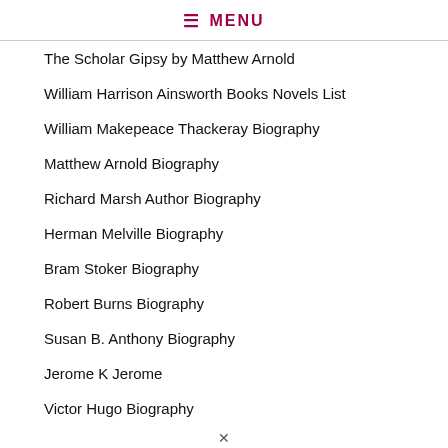MENU
The Scholar Gipsy by Matthew Arnold
William Harrison Ainsworth Books Novels List
William Makepeace Thackeray Biography
Matthew Arnold Biography
Richard Marsh Author Biography
Herman Melville Biography
Bram Stoker Biography
Robert Burns Biography
Susan B. Anthony Biography
Jerome K Jerome
Victor Hugo Biography